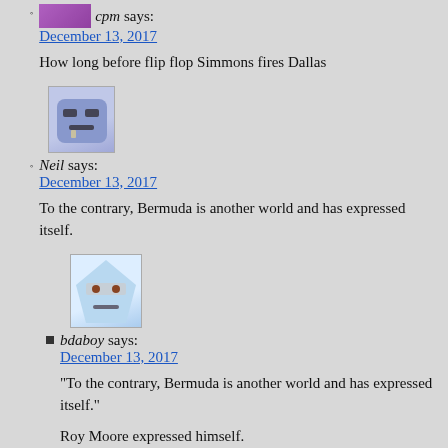cpm says: December 13, 2017
How long before flip flop Simmons fires Dallas
Neil says: December 13, 2017
To the contrary, Bermuda is another world and has expressed itself.
bdaboy says: December 13, 2017
"To the contrary, Bermuda is another world and has expressed itself."
Roy Moore expressed himself.
Trump expressed himself.
My dog expresses himself on trees and fire hydrants.
…and now Bermuda has expressed itself.